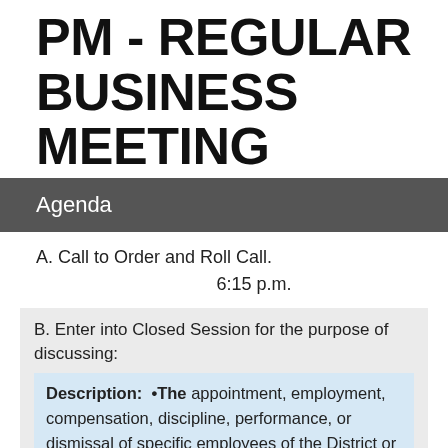PM - REGULAR BUSINESS MEETING
Agenda
A. Call to Order and Roll Call.
6:15 p.m.
B. Enter into Closed Session for the purpose of discussing:
Description: •The appointment, employment, compensation, discipline, performance, or dismissal of specific employees of the District or legal counsel for the District, including hearing testimony on a complaint lodged against an employee or against legal counsel for the District to determine its validity. 5 ILCS 120/2(c)(1).